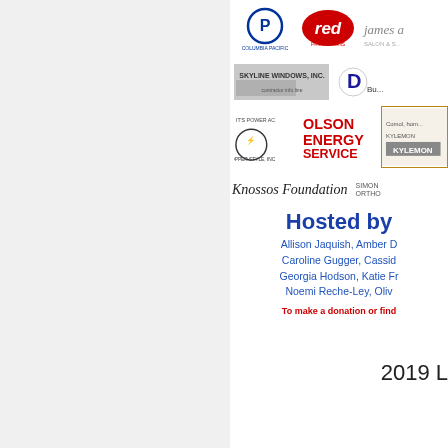[Figure (logo): Columbia Pacific logo]
[Figure (logo): Red Promotions logo]
[Figure (logo): James salon logo]
[Figure (logo): Skyline Windows Inc logo]
[Figure (logo): D company logo]
[Figure (logo): Olson Energy Service logo]
[Figure (logo): Kylemon logo]
Knossos Foundation
SIMON ORTHO
Hosted by
Allison Jaquish, Amber D
Caroline Gugger, Cassid
Georgia Hodson, Katie Fr
Noemi Reche-Ley, Oliv
To make a donation or find
2019 L
The Little Lemon Drops are